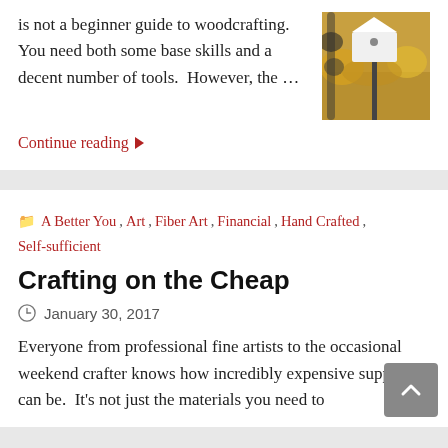is not a beginner guide to woodcrafting.  You need both some base skills and a decent number of tools.  However, the …
[Figure (photo): Book cover showing a white architectural birdhouse on a post in an autumn garden]
Continue reading ▶
A Better You, Art, Fiber Art, Financial, Hand Crafted, Self-sufficient
Crafting on the Cheap
January 30, 2017
Everyone from professional fine artists to the occasional weekend crafter knows how incredibly expensive supplies can be.  It's not just the materials you need to